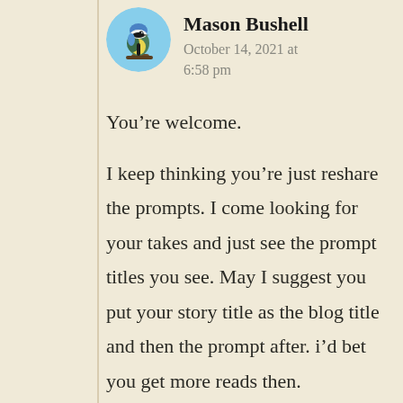[Figure (photo): Circular avatar photo of a blue tit bird perched on a branch against a blue sky background]
Mason Bushell
October 14, 2021 at 6:58 pm
You’re welcome.
I keep thinking you’re just reshare the prompts. I come looking for your takes and just see the prompt titles you see. May I suggest you put your story title as the blog title and then the prompt after. i’d bet you get more reads then.